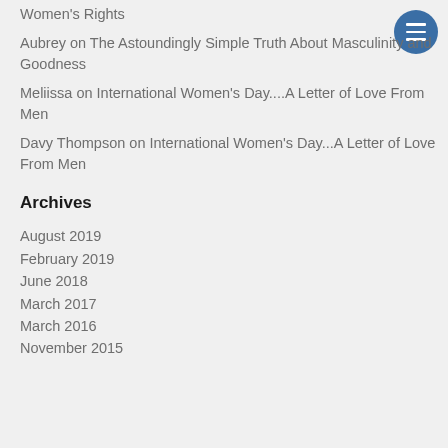Women's Rights
Aubrey on The Astoundingly Simple Truth About Masculinity and Goodness
Meliissa on International Women's Day....A Letter of Love From Men
Davy Thompson on International Women's Day...A Letter of Love From Men
Archives
August 2019
February 2019
June 2018
March 2017
March 2016
November 2015